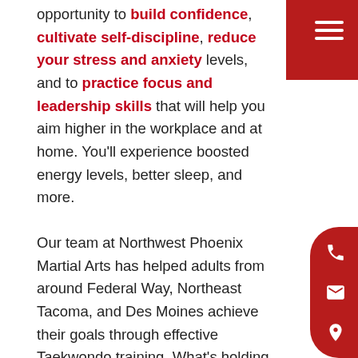opportunity to build confidence, cultivate self-discipline, reduce your stress and anxiety levels, and to practice focus and leadership skills that will help you aim higher in the workplace and at home. You'll experience boosted energy levels, better sleep, and more.
Our team at Northwest Phoenix Martial Arts has helped adults from around Federal Way, Northeast Tacoma, and Des Moines achieve their goals through effective Taekwondo training. What's holding you back from achieving your goals?
OUR ADULT MARTIAL ARTS PROGRAM WILL HELP YOU:
Build confidence, focus, & self-esteem
Reduce your stress & anxiety levels